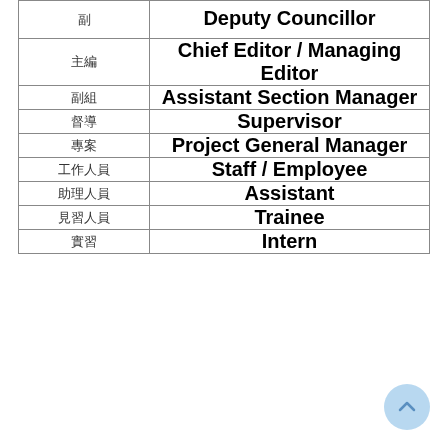| (Thai) | English Title |
| --- | --- |
| □□ | Deputy Councillor |
| □□ | Chief Editor / Managing Editor |
| □□ | Assistant Section Manager |
| □□ | Supervisor |
| □□ | Project General Manager |
| □□□□ | Staff / Employee |
| □□□□□□ | Assistant |
| □□□□□□□ | Trainee |
| □□ | Intern |